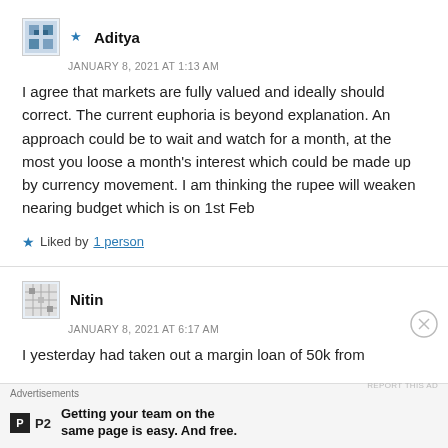★ Aditya
JANUARY 8, 2021 AT 1:13 AM
I agree that markets are fully valued and ideally should correct. The current euphoria is beyond explanation. An approach could be to wait and watch for a month, at the most you loose a month's interest which could be made up by currency movement. I am thinking the rupee will weaken nearing budget which is on 1st Feb
★ Liked by 1 person
Nitin
JANUARY 8, 2021 AT 6:17 AM
I yesterday had taken out a margin loan of 50k from
Advertisements
P2 Getting your team on the same page is easy. And free.